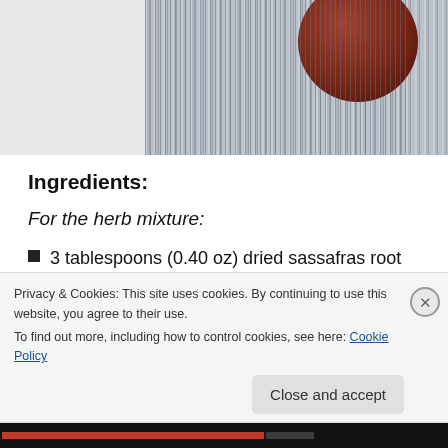[Figure (photo): Top portion of a food/recipe photo showing a striped fabric background and a round dark reddish-brown object (root or ingredient) partially visible at the top right.]
Ingredients:
For the herb mixture:
3 tablespoons (0.40 oz) dried sassafras root
2 tablespoons (0.20 oz) dried sarsaparilla root
1 thumb sized American ginseng root (organically grown) (0.15 oz)
Privacy & Cookies: This site uses cookies. By continuing to use this website, you agree to their use.
To find out more, including how to control cookies, see here: Cookie Policy